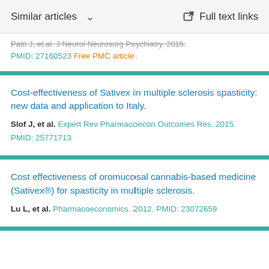Similar articles   Full text links
Patri J, et al. J Neurol Neurosurg Psychiatry. 2016. PMID: 27160523 Free PMC article.
Cost-effectiveness of Sativex in multiple sclerosis spasticity: new data and application to Italy.
Slof J, et al. Expert Rev Pharmacoecon Outcomes Res. 2015. PMID: 25771713
Cost effectiveness of oromucosal cannabis-based medicine (Sativex®) for spasticity in multiple sclerosis.
Lu L, et al. Pharmacoeconomics. 2012. PMID: 23072659